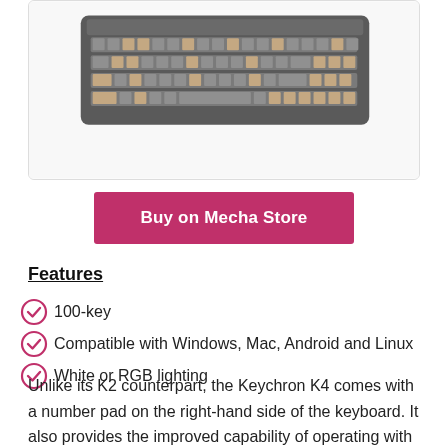[Figure (photo): Keychron K4 mechanical keyboard with beige/pink and gray keycaps, shown from slightly above on a white background inside a card with border]
Buy on Mecha Store
Features
100-key
Compatible with Windows, Mac, Android and Linux
White or RGB lighting
Unlike its K2 counterpart, the Keychron K4 comes with a number pad on the right-hand side of the keyboard. It also provides the improved capability of operating with Linux, an open-source OS.
Depending on your usage, the Keychron K4 can last for a